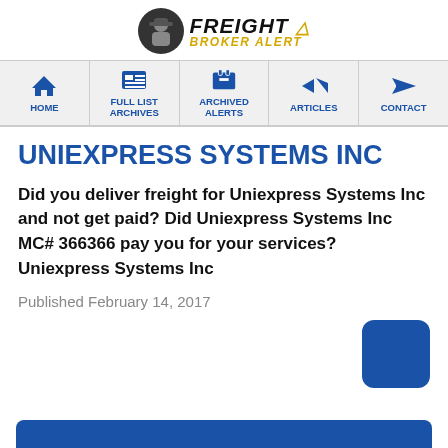[Figure (logo): Freight Broker Alert logo with detective silhouette in circle and warning triangle icon]
HOME | FULL LIST ARCHIVES | ARCHIVED ALERTS | ARTICLES | CONTACT
UNIEXPRESS SYSTEMS INC
Did you deliver freight for Uniexpress Systems Inc and not get paid? Did Uniexpress Systems Inc MC# 366366 pay you for your services? Uniexpress Systems Inc
Published February 14, 2017